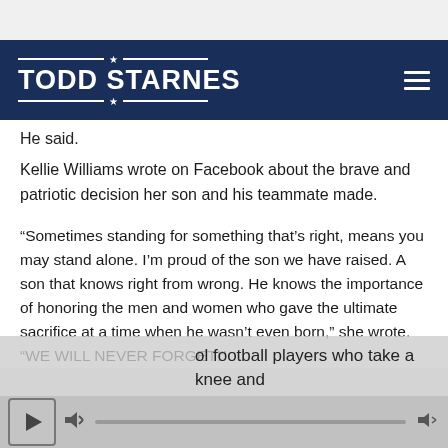TODD STARNES
He said.
Kellie Williams wrote on Facebook about the brave and patriotic decision her son and his teammate made.
“Sometimes standing for something that’s right, means you may stand alone. I’m proud of the son we have raised. A son that knows right from wrong. He knows the importance of honoring the men and women who gave the ultimate sacrifice at a time when he wasn’t even born,” she wrote. “WE WILL NEVER FORGET!”
ol football players who take a knee and